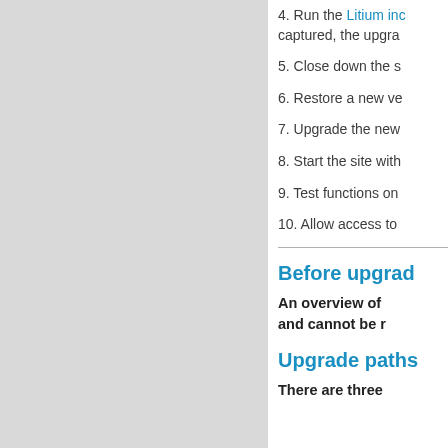4. Run the Litium inc captured, the upgra
5. Close down the s
6. Restore a new ve
7. Upgrade the new
8. Start the site with
9. Test functions on
10. Allow access to
Before upgrad
An overview of and cannot be r
Upgrade paths
There are three